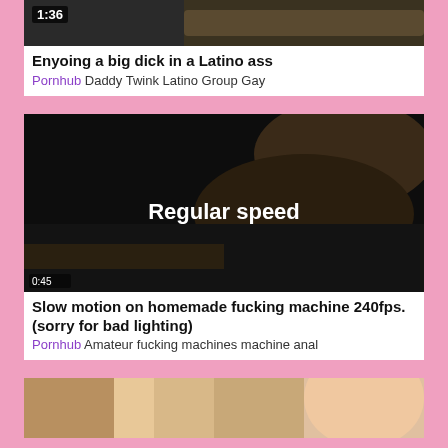[Figure (screenshot): Video thumbnail showing dark scene, timestamp 1:36 visible in top left]
Enyoing a big dick in a Latino ass
Pornhub Daddy Twink Latino Group Gay
[Figure (screenshot): Video thumbnail showing dark scene with text 'Regular speed' in center, timestamp 0:45 visible]
Slow motion on homemade fucking machine 240fps. (sorry for bad lighting)
Pornhub Amateur fucking machines machine anal
[Figure (screenshot): Video thumbnail showing skin-toned close-up scene, partially visible at bottom of page]